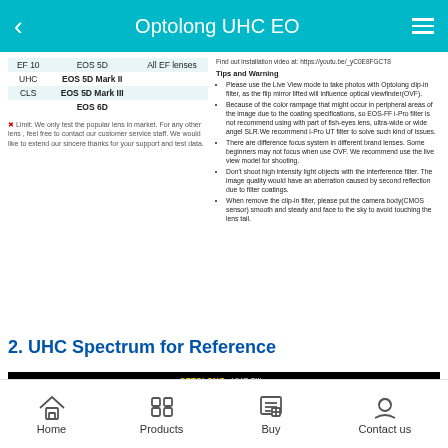Optolong UHC EO
| Filter | Camera | Lens |
| --- | --- | --- |
| EF 10 | EOS 5D | All EF lenses |
| UHC | EOS 5D Mark II |  |
| CLS | EOS 5D Mark III |  |
|  | EOS 6D |  |
※ Limit: We only test the popular lens in market. For any other lens , feel free to contact our customer service staff. We would like to extend our sincere thanks for your support and test data.
Find out installation video at: https://youtu.be/_yC0E8FGCT8
Tips and Warning
Please use the Live View mode to take photos with Optolong clip-in filter, as the flip mirror lifted will influence optical viewfinder(OVF).
Because of the color rampage that might occur in peripheral areas of the image due to the coating specifications, so EOS-FF i-Pro filter is not recommend using with part of fish-eyes lens, ultra-wide or wide angel SLR.We recommend i-Pro UT filter to solve such kind of issues.
There are difference focus system in different brand lenses. Some beginners may not focus when use OVF. We recommend use the live view model for shooting.
Don't shoot high intensity light objects with the interference filter. The image quality would have an aberration caused by second reflection due to filter coatings.
When remove the clip-in filter, please put the camera body(CMOS sensor) smooth and steady and face to the sky to avoid touching the lens tail.
2. UHC Spectrum for Reference
[Figure (continuous-plot): OPTOLONGe UHC Filter spectrum chart showing UHC transmission curve (red line) with nebula emission line markers (green) and light pollution emission line markers (yellow) on black background.]
Home | Products | Buy | Contact us